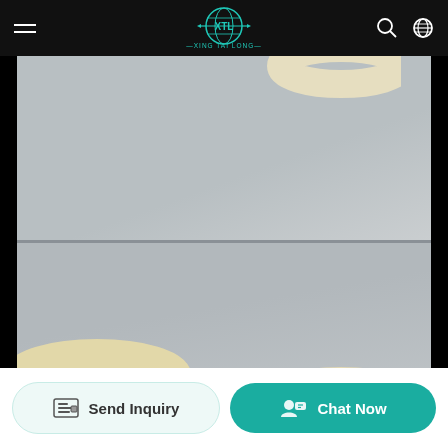[Figure (logo): XTL Xing Tai Long company logo — globe with XTL text in teal/cyan on black navigation bar]
[Figure (photo): Product photo showing off-white/cream colored rubber or plastic O-rings/sealing rings on a light gray background. Two photos stacked: top shows partial ring at upper right, bottom shows two rings at lower portion.]
Send Inquiry
Chat Now